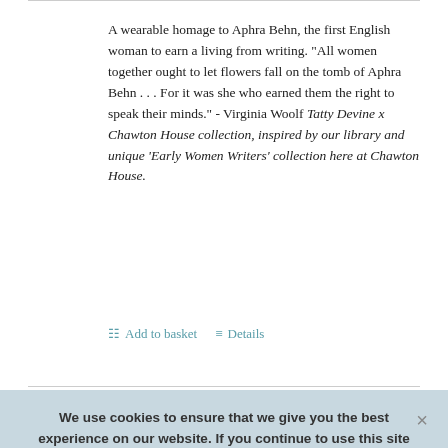A wearable homage to Aphra Behn, the first English woman to earn a living from writing. "All women together ought to let flowers fall on the tomb of Aphra Behn . . . For it was she who earned them the right to speak their minds." - Virginia Woolf Tatty Devine x Chawton House collection, inspired by our library and unique 'Early Women Writers' collection here at Chawton House.
Add to basket   Details
We use cookies to ensure that we give you the best experience on our website. If you continue to use this site we will assume that you are happy with this.
OK   More about cookies